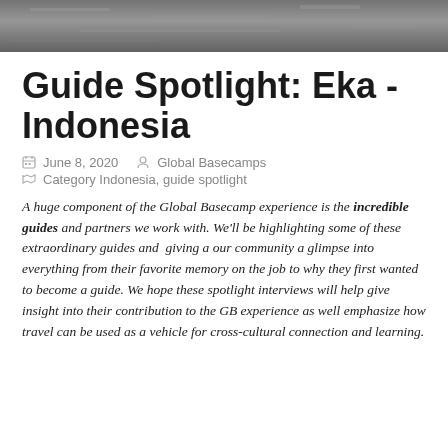[Figure (photo): Gray textured surface, top strip of page — partial photo showing dark asphalt or stone texture]
Guide Spotlight: Eka - Indonesia
June 8, 2020   Global Basecamps
Category Indonesia, guide spotlight
A huge component of the Global Basecamp experience is the incredible guides and partners we work with. We'll be highlighting some of these extraordinary guides and giving a our community a glimpse into everything from their favorite memory on the job to why they first wanted to become a guide. We hope these spotlight interviews will help give insight into their contribution to the GB experience as well emphasize how travel can be used as a vehicle for cross-cultural connection and learning.